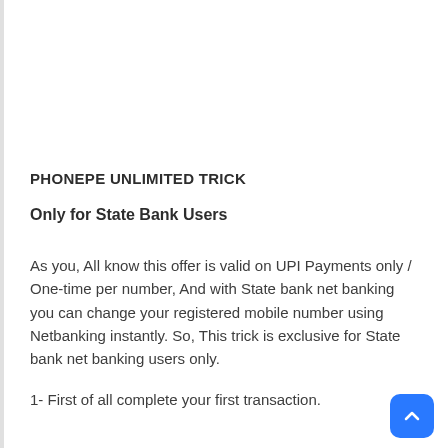PHONEPE UNLIMITED TRICK
Only for State Bank Users
As you, All know this offer is valid on UPI Payments only / One-time per number, And with State bank net banking you can change your registered mobile number using Netbanking instantly. So, This trick is exclusive for State bank net banking users only.
1- First of all complete your first transaction.